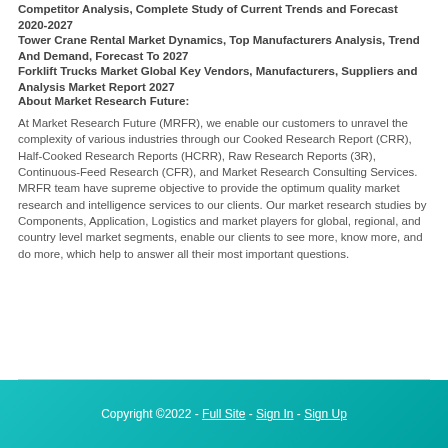Competitor Analysis, Complete Study of Current Trends and Forecast 2020-2027
Tower Crane Rental Market Dynamics, Top Manufacturers Analysis, Trend And Demand, Forecast To 2027
Forklift Trucks Market Global Key Vendors, Manufacturers, Suppliers and Analysis Market Report 2027
About Market Research Future:
At Market Research Future (MRFR), we enable our customers to unravel the complexity of various industries through our Cooked Research Report (CRR), Half-Cooked Research Reports (HCRR), Raw Research Reports (3R), Continuous-Feed Research (CFR), and Market Research Consulting Services. MRFR team have supreme objective to provide the optimum quality market research and intelligence services to our clients. Our market research studies by Components, Application, Logistics and market players for global, regional, and country level market segments, enable our clients to see more, know more, and do more, which help to answer all their most important questions.
Copyright ©2022  -  Full Site  -  Sign In  -  Sign Up